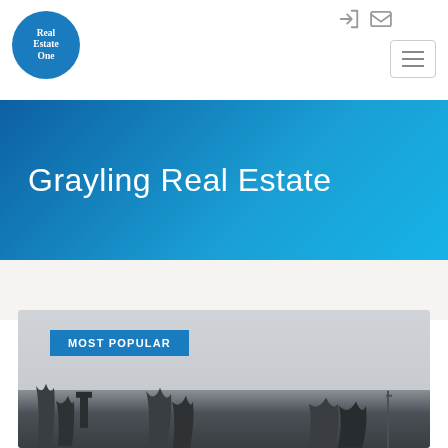[Figure (logo): Real Estate One circular blue logo with white text]
[Figure (screenshot): Navigation icons: sign-in and email icons top right, hamburger menu button]
Grayling Real Estate
MOST POPULAR
[Figure (photo): Outdoor real estate property photo showing bare winter trees, a chimney/rooftop, and overcast grey sky]